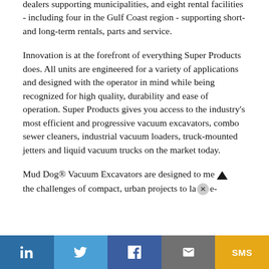dealers supporting municipalities, and eight rental facilities - including four in the Gulf Coast region - supporting short- and long-term rentals, parts and service.
Innovation is at the forefront of everything Super Products does. All units are engineered for a variety of applications and designed with the operator in mind while being recognized for high quality, durability and ease of operation. Super Products gives you access to the industry's most efficient and progressive vacuum excavators, combo sewer cleaners, industrial vacuum loaders, truck-mounted jetters and liquid vacuum trucks on the market today.
Mud Dog® Vacuum Excavators are designed to meet the challenges of compact, urban projects to large-
LinkedIn Twitter Facebook Email SMS